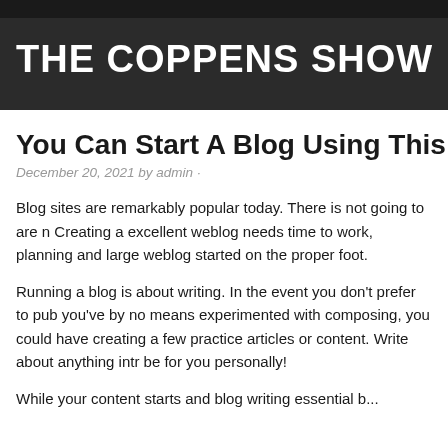THE COPPENS SHOW
You Can Start A Blog Using This Type O
December 20, 2021 by admin ·
Blog sites are remarkably popular today. There is not going to are n Creating a excellent weblog needs time to work, planning and large weblog started on the proper foot.
Running a blog is about writing. In the event you don't prefer to pub you've by no means experimented with composing, you could have creating a few practice articles or content. Write about anything intr be for you personally!
While your content starts and blog writing essential b...